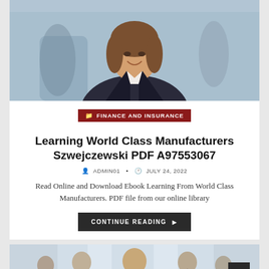[Figure (photo): Professional businesswoman in a dark blazer smiling, with blurred colleagues in the background in an office setting.]
FINANCE AND INSURANCE
Learning World Class Manufacturers Szwejczewski PDF A97553067
ADMIN01 • JULY 24, 2022
Read Online and Download Ebook Learning From World Class Manufacturers. PDF file from our online library
CONTINUE READING ▶
[Figure (photo): Group of professional business people in formal attire in a bright office environment.]